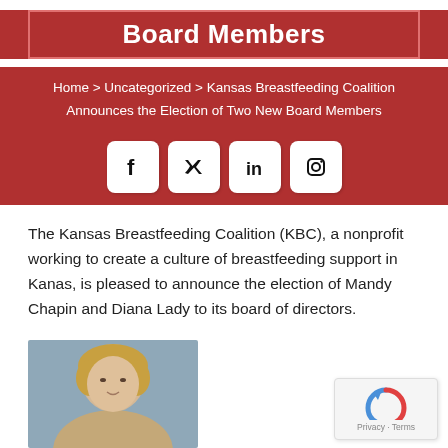Board Members
Home > Uncategorized > Kansas Breastfeeding Coalition Announces the Election of Two New Board Members
[Figure (other): Social media icons row: Facebook, Twitter, LinkedIn, Instagram]
The Kansas Breastfeeding Coalition (KBC), a nonprofit working to create a culture of breastfeeding support in Kanas, is pleased to announce the election of Mandy Chapin and Diana Lady to its board of directors.
[Figure (photo): Headshot of a woman with blonde hair]
[Figure (other): reCAPTCHA widget with Privacy and Terms text]